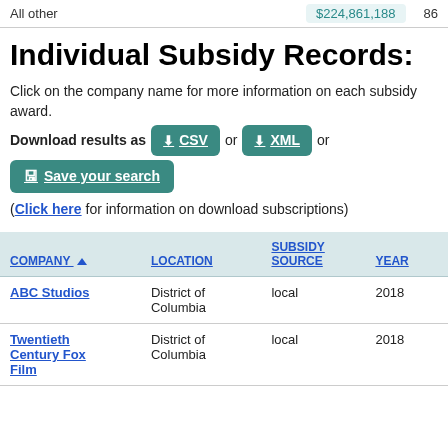All other  $224,861,188  86
Individual Subsidy Records:
Click on the company name for more information on each subsidy award.
Download results as CSV or XML or Save your search (Click here for information on download subscriptions)
| COMPANY | LOCATION | SUBSIDY SOURCE | YEAR |
| --- | --- | --- | --- |
| ABC Studios | District of Columbia | local | 2018 |
| Twentieth Century Fox Film | District of Columbia | local | 2018 |